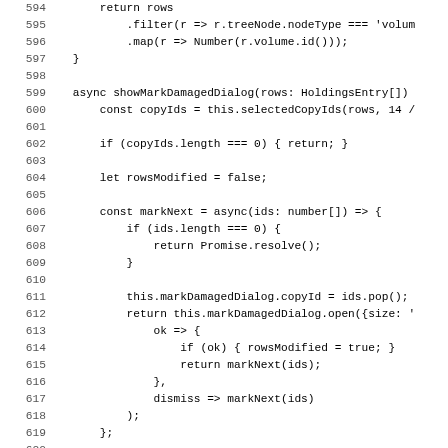[Figure (screenshot): Source code listing showing lines 594-626 of a TypeScript/JavaScript file. Code displays methods including showMarkDamagedDialog with async/await patterns, markNext recursive function, and related logic for handling copy IDs and row modifications.]